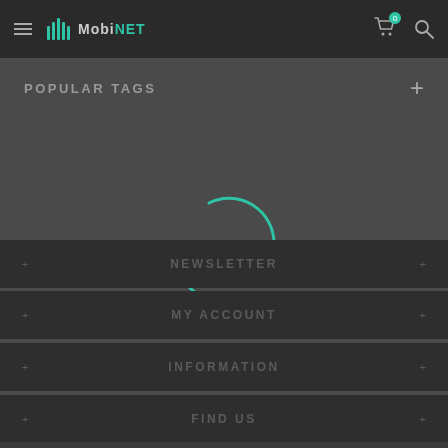MobiNET
POPULAR TAGS
[Figure (other): Loading spinner - circular arc in teal/green color indicating content is loading]
FIND US
INFORMATION
MY ACCOUNT
NEWSLETTER